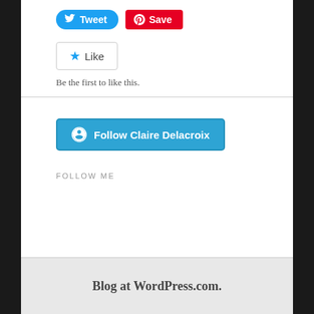[Figure (screenshot): Twitter Tweet button (blue rounded) and Pinterest Save button (red rounded square)]
[Figure (screenshot): Like button with blue star icon and 'Like' text in a bordered box]
Be the first to like this.
[Figure (screenshot): Follow Claire Delacroix button — teal/blue with WordPress logo icon]
FOLLOW ME
Blog at WordPress.com.